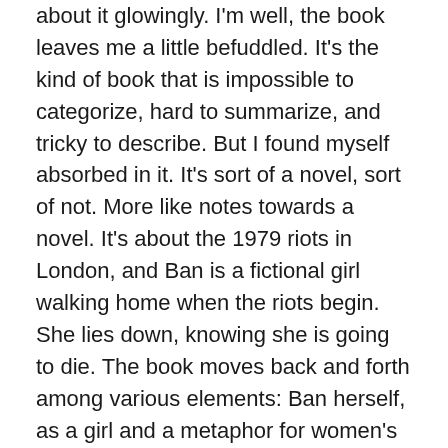about it glowingly. I'm well, the book leaves me a little befuddled. It's the kind of book that is impossible to categorize, hard to summarize, and tricky to describe. But I found myself absorbed in it. It's sort of a novel, sort of not. More like notes towards a novel. It's about the 1979 riots in London, and Ban is a fictional girl walking home when the riots begin. She lies down, knowing she is going to die. The book moves back and forth among various elements: Ban herself, as a girl and a metaphor for women's experiences more broadly; the author trying to understand Ban by haunting the place she died, by taking Ban's same position lying down on the road, and through performance art and writing; the author thinking about writing itself, what it can do and its relationship to the body; and stories of others who died or suffered violence because of political protests or simply because they were women. There are photographs throughout the book, and